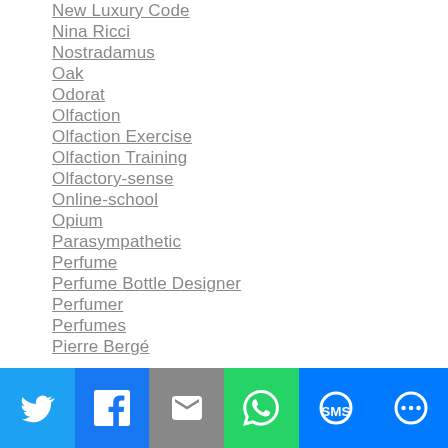New Luxury Code
Nina Ricci
Nostradamus
Oak
Odorat
Olfaction
Olfaction Exercise
Olfaction Training
Olfactory-sense
Online-school
Opium
Parasympathetic
Perfume
Perfume Bottle Designer
Perfumer
Perfumes
Pierre Bergé
[Figure (infographic): Social share bar with Twitter, Facebook, Email, WhatsApp, SMS, and More buttons]